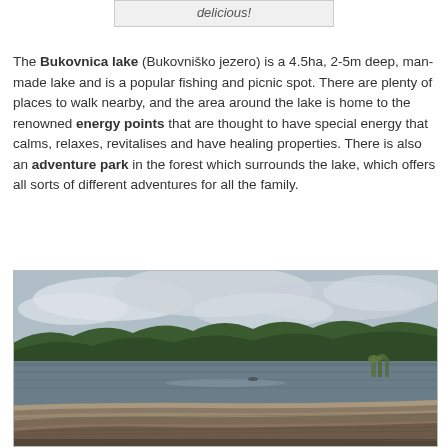delicious!
The Bukovnica lake (Bukovniško jezero) is a 4.5ha, 2-5m deep, man-made lake and is a popular fishing and picnic spot. There are plenty of places to walk nearby, and the area around the lake is home to the renowned energy points that are thought to have special energy that calms, relaxes, revitalises and have healing properties. There is also an adventure park in the forest which surrounds the lake, which offers all sorts of different adventures for all the family.
[Figure (photo): Photograph of Bukovnica lake showing calm water reflecting cloudy sky, surrounded by dense green forested hills, with weathered wooden logs in the foreground.]